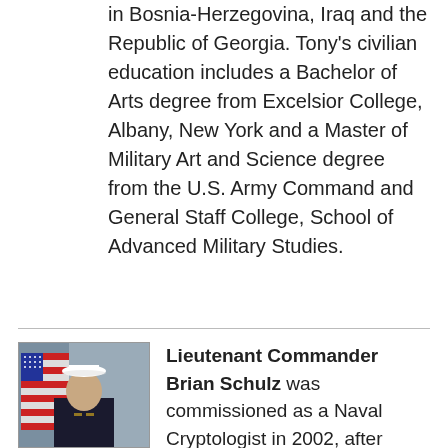in Bosnia-Herzegovina, Iraq and the Republic of Georgia. Tony's civilian education includes a Bachelor of Arts degree from Excelsior College, Albany, New York and a Master of Military Art and Science degree from the U.S. Army Command and General Staff College, School of Advanced Military Studies.
[Figure (photo): Portrait photo of Lieutenant Commander Brian Schulz in naval dress uniform with American flag in background]
Lieutenant Commander Brian Schulz was commissioned as a Naval Cryptologist in 2002, after earning a BS in Quantitative